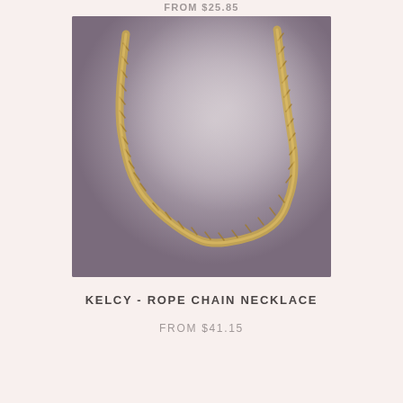FROM $25.85
[Figure (photo): Gold rope chain necklace lying on a soft lavender-grey surface. The chain has a twisted rope style and is gold colored, forming a U-shape loop.]
KELCY - ROPE CHAIN NECKLACE
FROM $41.15